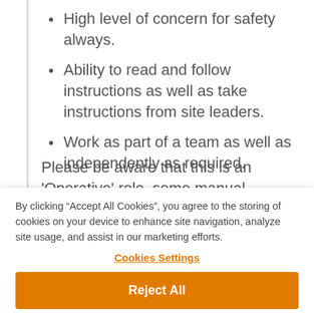High level of concern for safety always.
Ability to read and follow instructions as well as take instructions from site leaders.
Work as part of a team as well as independently as required.
Please be aware that this is an 'Operative' role, some manual handling is required as part of the activity.
By clicking “Accept All Cookies”, you agree to the storing of cookies on your device to enhance site navigation, analyze site usage, and assist in our marketing efforts.
Cookies Settings
Reject All
Accept All Cookies